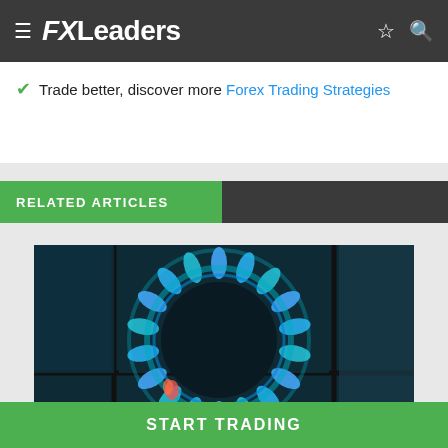FXLeaders
Trade better, discover more Forex Trading Strategies
RELATED ARTICLES
[Figure (photo): Close-up photo of a blue gas flame burner on a stove, dark teal background]
START TRADING